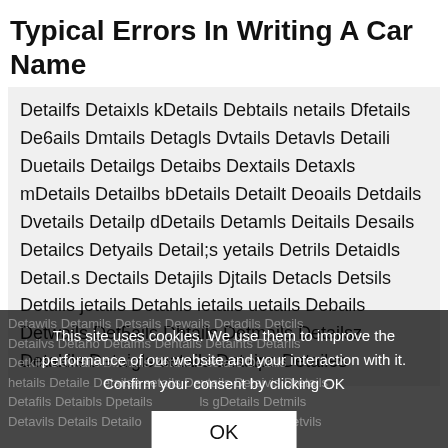Typical Errors In Writing A Car Name
Detailfs Detaixls kDetails Debtails netails Dfetails De6ails Dmtails Detagls Dvtails Detavls Detaili Duetails Detailgs Detaibs Dextails Detaxls mDetails Detailbs bDetails Detailt Deoails Detdails Dvetails Detailp dDetails Detamls Deitails Desails Detailcs Detyails Detail;s yetails Detrils Detaidls Detail.s Dectails Detajils Djtails Detacls Detsils Detdils jetails Detahls ietails uetails Debails Detwails Det5ails Dhtails Detmails Detailsz Detakils Detaigls oetails Detaips Detailes
This site uses cookies. We use them to improve the performance of our website and your interaction with it. Confirm your consent by clicking OK